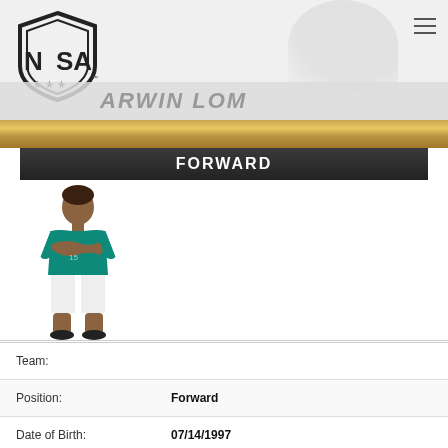[Figure (logo): NISA (National Independent Soccer Association) shield logo with stars]
DARWIN LOM
FORWARD
[Figure (photo): Player photo of Darwin Lom in teal jersey and white shorts, arms crossed]
| Field | Value |
| --- | --- |
| Team: |  |
| Position: | Forward |
| Date of Birth: | 07/14/1997 |
| Age: | 25 |
| Country: | Guastatoya, Guatemala |
| Weight: | 172 lbs |